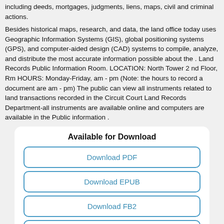including deeds, mortgages, judgments, liens, maps, civil and criminal actions.
Besides historical maps, research, and data, the land office today uses Geographic Information Systems (GIS), global positioning systems (GPS), and computer-aided design (CAD) systems to compile, analyze, and distribute the most accurate information possible about the . Land Records Public Information Room. LOCATION: North Tower 2 nd Floor, Rm HOURS: Monday-Friday, am - pm (Note: the hours to record a document are am - pm) The public can view all instruments related to land transactions recorded in the Circuit Court Land Records Department-all instruments are available online and computers are available in the Public information .
Available for Download
Download PDF
Download EPUB
Download FB2
Download MOBI